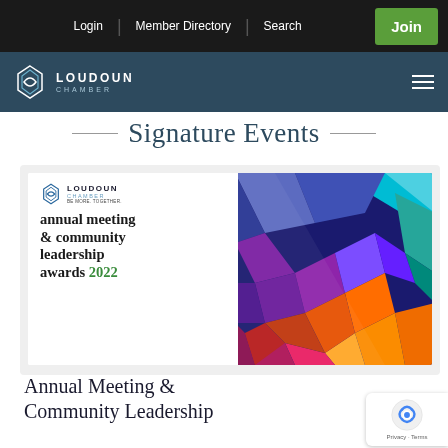Login | Member Directory | Search | Join
[Figure (logo): Loudoun Chamber logo with diamond/infinity icon and white text on dark teal background bar]
Signature Events
[Figure (photo): Annual Meeting & Community Leadership Awards 2022 promotional banner with Loudoun Chamber logo and colorful geometric polygon design on the right side]
Annual Meeting & Community Leadership